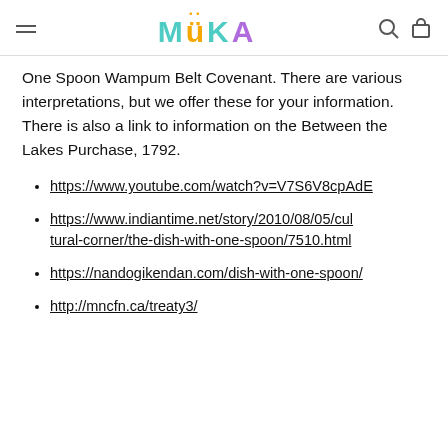MUKA (logo with hamburger menu, search icon, cart icon)
One Spoon Wampum Belt Covenant. There are various interpretations, but we offer these for your information. There is also a link to information on the Between the Lakes Purchase, 1792.
https://www.youtube.com/watch?v=V7S6V8cpAdE
https://www.indiantime.net/story/2010/08/05/cultural-corner/the-dish-with-one-spoon/7510.html
https://nandogikendan.com/dish-with-one-spoon/
http://mncfn.ca/treaty3/